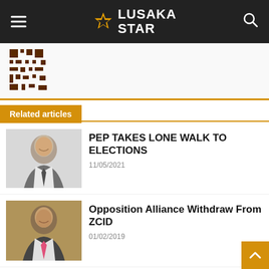Lusaka Star
[Figure (other): QR code pattern / decorative pattern image]
Related articles
PEP TAKES LONE WALK TO ELECTIONS
11/05/2021
[Figure (photo): Headshot of a man in a suit, smiling]
Opposition Alliance Withdraw From ZCID
01/02/2019
[Figure (photo): Headshot of a man in a suit with pink tie]